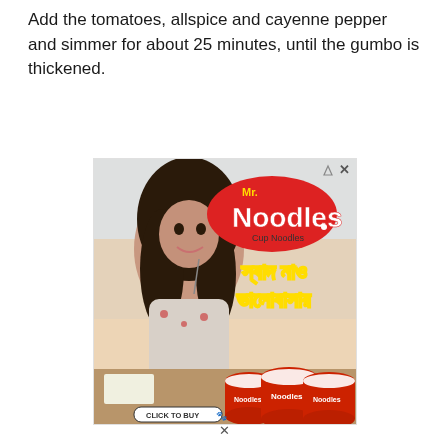Add the tomatoes, allspice and cayenne pepper and simmer for about 25 minutes, until the gumbo is thickened.
[Figure (photo): Advertisement for Mr. Noodles Cup Noodles showing a young woman with curly hair eating noodles, the Mr. Noodles logo, Bengali text, three red cup noodle containers, and a 'Click to Buy' button.]